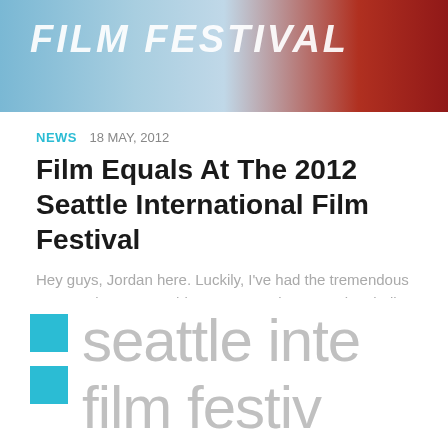[Figure (photo): Banner image for a film festival with text 'FILM FESTIVAL' in bold italic white letters, overlaid on a blue-toned background with a red flower on the right side]
NEWS  18 MAY, 2012
Film Equals At The 2012 Seattle International Film Festival
Hey guys, Jordan here. Luckily, I've had the tremendous opportunity to cover this year's Seattle International Film Festival (SIFF). The 38th SIFF starts May 17 and spans until June 10, screening 273 features and...
[Figure (logo): Seattle International Film Festival logo with teal square accents on the left and large light gray text reading 'seattle inte' and 'film festi' on two lines]